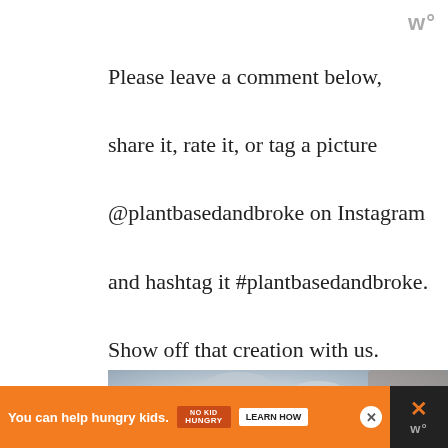w°
Please leave a comment below, share it, rate it, or tag a picture @plantbasedandbroke on Instagram and hashtag it #plantbasedandbroke. Show off that creation with us.
[Figure (photo): Close-up photo of metallic measuring spoons and a container, blurred background with gray and brown tones.]
[Figure (infographic): Orange advertisement banner: 'You can help hungry kids.' with No Kid Hungry logo and 'LEARN HOW' button. Black right panel with orange X and gray w° logo.]